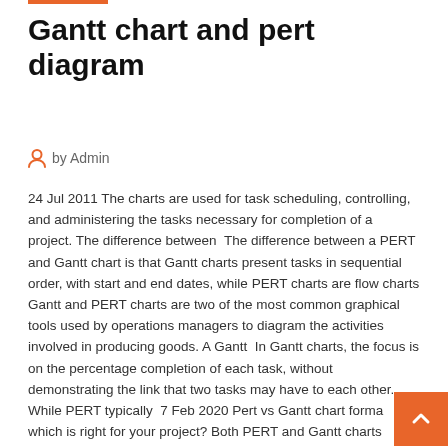Gantt chart and pert diagram
by Admin
24 Jul 2011 The charts are used for task scheduling, controlling, and administering the tasks necessary for completion of a project. The difference between  The difference between a PERT and Gantt chart is that Gantt charts present tasks in sequential order, with start and end dates, while PERT charts are flow charts
Gantt and PERT charts are two of the most common graphical tools used by operations managers to diagram the activities involved in producing goods. A Gantt  In Gantt charts, the focus is on the percentage completion of each task, without demonstrating the link that two tasks may have to each other. While PERT typically  7 Feb 2020 Pert vs Gantt chart format which is right for your project? Both PERT and Gantt charts are incredibly helpful to project management